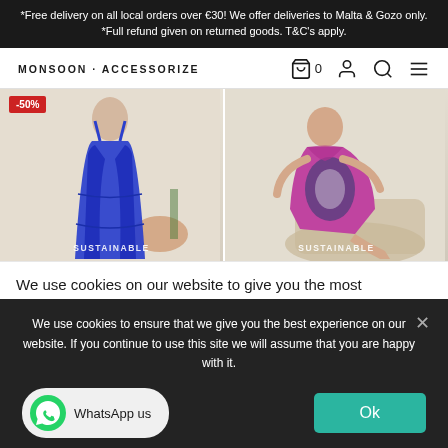*Free delivery on all local orders over €30! We offer deliveries to Malta & Gozo only. *Full refund given on returned goods. T&C's apply.
[Figure (screenshot): Monsoon Accessorize navigation bar with logo, cart icon showing 0, user icon, search icon, and hamburger menu icon]
[Figure (photo): Two product photos side by side: left shows a woman in a blue maxi dress with -50% sale badge and SUSTAINABLE label; right shows a woman in a pink/purple tie-dye dress with SUSTAINABLE label]
We use cookies on our website to give you the most
We use cookies to ensure that we give you the best experience on our website. If you continue to use this site we will assume that you are happy with it.
WhatsApp us
Ok